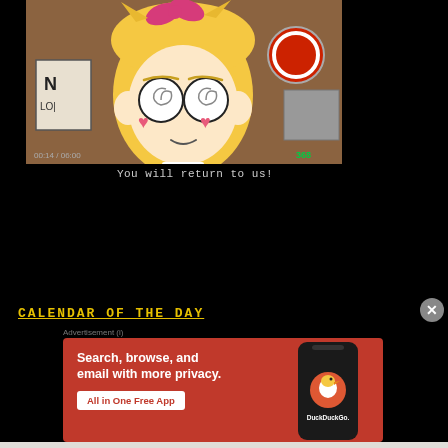[Figure (screenshot): Animated cartoon character (blonde girl with heart cheek marks and spiral eyes, red bow, looking dazed) on a brown background with signs]
You will return to us!
CALENDAR OF THE DAY
Advertisement (i)
[Figure (screenshot): DuckDuckGo advertisement banner: 'Search, browse, and email with more privacy. All in One Free App' with DuckDuckGo logo on a phone mockup, orange-red background]